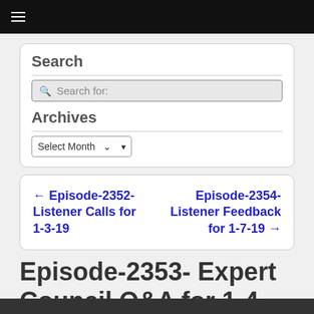≡
Search
Search for:
Archives
Select Month
← Episode-2352-Listener Calls for 1-3-19   Episode-2354-Listener Feedback for 1-7-19 →
Episode-2353- Expert Council Q&A for 1-4-18
Posted on January 4, 2019 by Modern Survival